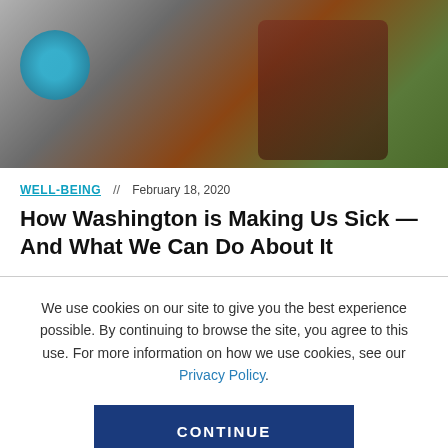[Figure (photo): Group of people outdoors, blurred/out-of-focus image with a blue circular element on the left and people wearing colorful clothing in front of green trees]
WELL-BEING  //  February 18, 2020
How Washington is Making Us Sick — And What We Can Do About It
We use cookies on our site to give you the best experience possible. By continuing to browse the site, you agree to this use. For more information on how we use cookies, see our Privacy Policy.
CONTINUE